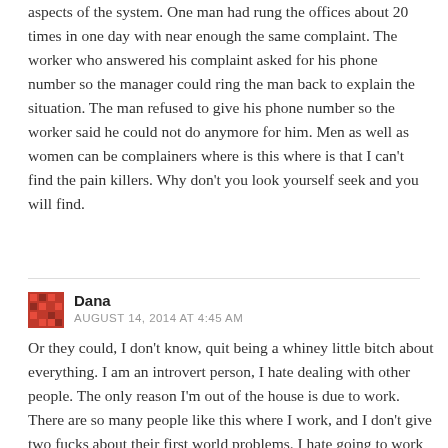aspects of the system. One man had rung the offices about 20 times in one day with near enough the same complaint. The worker who answered his complaint asked for his phone number so the manager could ring the man back to explain the situation. The man refused to give his phone number so the worker said he could not do anymore for him. Men as well as women can be complainers where is this where is that I can't find the pain killers. Why don't you look yourself seek and you will find.
Dana
AUGUST 14, 2014 AT 4:45 AM
Or they could, I don't know, quit being a whiney little bitch about everything. I am an introvert person, I hate dealing with other people. The only reason I'm out of the house is due to work. There are so many people like this where I work, and I don't give two fucks about their first world problems. I hate going to work and dealing with these